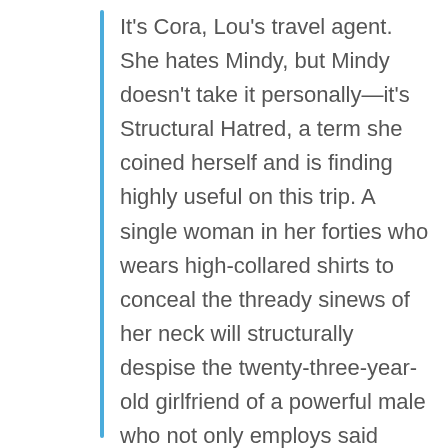It's Cora, Lou's travel agent. She hates Mindy, but Mindy doesn't take it personally—it's Structural Hatred, a term she coined herself and is finding highly useful on this trip. A single woman in her forties who wears high-collared shirts to conceal the thready sinews of her neck will structurally despise the twenty-three-year-old girlfriend of a powerful male who not only employs said middle-aged female but is paying her way on this trip.